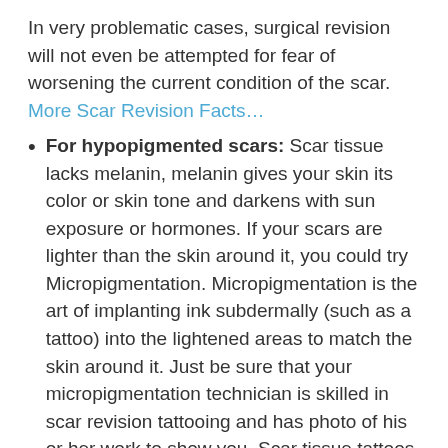In very problematic cases, surgical revision will not even be attempted for fear of worsening the current condition of the scar. More Scar Revision Facts…
For hypopigmented scars: Scar tissue lacks melanin, melanin gives your skin its color or skin tone and darkens with sun exposure or hormones. If your scars are lighter than the skin around it, you could try Micropigmentation. Micropigmentation is the art of implanting ink subdermally (such as a tattoo) into the lightened areas to match the skin around it. Just be sure that your micropigmentation technician is skilled in scar revision tattooing and has photo of his or her work to show you. Scar tissue tattoos differently than unaltered (normal) skin and may appear darker than the intended